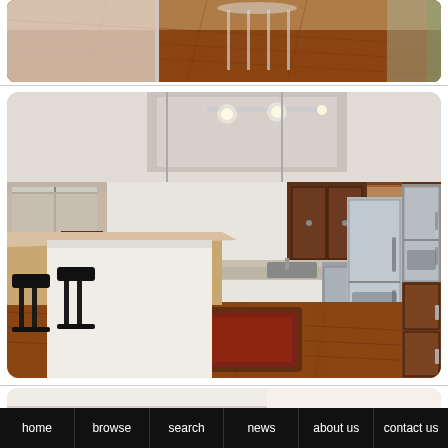[Figure (photo): Interior photo showing hardwood floors and white countertop, partial view of dining area]
[Figure (photo): Kitchen interior with granite island countertop, bar stools, stainless steel appliances including refrigerator, pendant lights, track lighting, hardwood floors and area rug]
[Figure (photo): Lower kitchen cabinets with cherry wood finish and brushed nickel hardware handles]
home   browse   search   news   about us   contact us